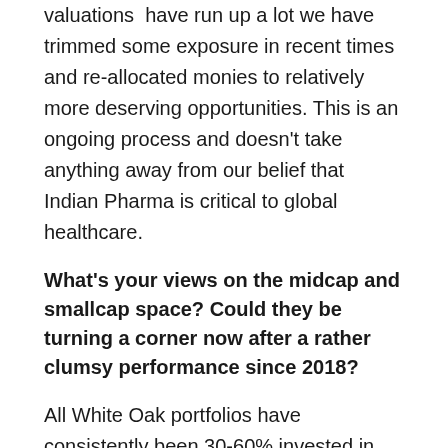valuations have run up a lot we have trimmed some exposure in recent times and re-allocated monies to relatively more deserving opportunities. This is an ongoing process and doesn't take anything away from our belief that Indian Pharma is critical to global healthcare.
What's your views on the midcap and smallcap space? Could they be turning a corner now after a rather clumsy performance since 2018?
All White Oak portfolios have consistently been 30-60% invested in the small and midcap space since White Oak was founded in 2017. Across our offshore funds and domestically in AIFs and PMS we have a multicap construct. Broadly speaking slowing